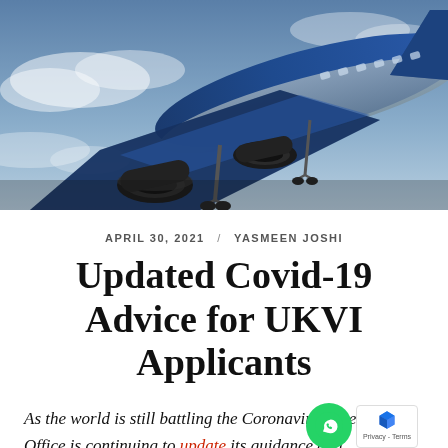[Figure (photo): Photograph of a large passenger airplane (blue and white livery) taken from below at an angle, showing the undercarriage, jet engines, and wing against a partly cloudy sky.]
APRIL 30, 2021 / YASMEEN JOSHI
Updated Covid-19 Advice for UKVI Applicants
As the world is still battling the Coronavirus, the Home Office is continuing to update its guidance and